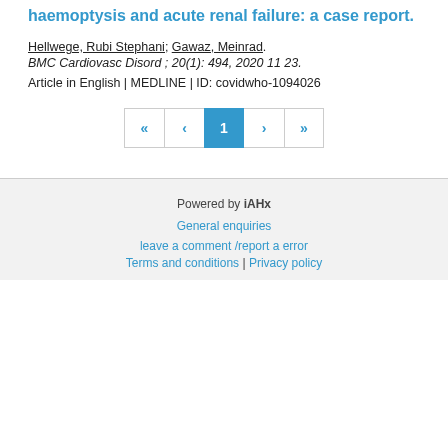haemoptysis and acute renal failure: a case report.
Hellwege, Rubi Stephani; Gawaz, Meinrad. BMC Cardiovasc Disord ; 20(1): 494, 2020 11 23.
Article in English | MEDLINE | ID: covidwho-1094026
« ‹ 1 › »
Powered by iAHx
General enquiries
leave a comment /report a error
Terms and conditions | Privacy policy